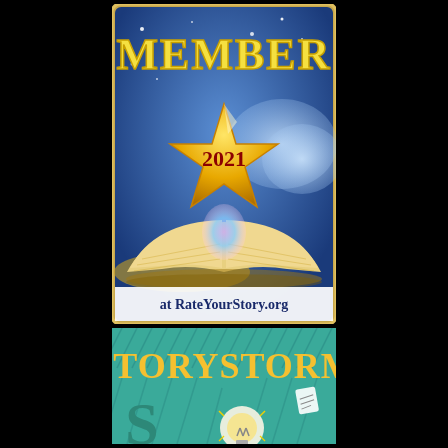[Figure (illustration): Member 2021 badge for RateYourStory.org showing a gold star with '2021' text in dark red, sitting on top of an open book with glowing pages, set against a blue sky with clouds and stars background. Text 'MEMBER' in yellow serif font at top, and 'at RateYourStory.org' in navy/dark blue at bottom.]
[Figure (illustration): Storystorm banner/logo showing the word 'STORYSTORM' in large yellow letters on a teal/green background with rain-like diagonal lines, a lightbulb, and partial letter 'S' visible at bottom.]